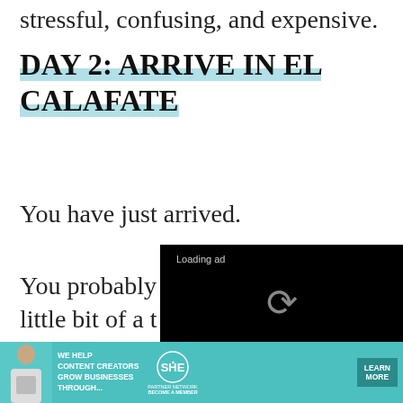stressful, confusing, and expensive.
DAY 2: ARRIVE IN EL CALAFATE
You have just arrived.
You probably [... little bit of a t... the time chan...
[Figure (screenshot): Loading ad video overlay with black background, spinner icon, pause, expand and mute controls at bottom]
relaxed and easy-going.
[Figure (infographic): SHE Media partner network bottom banner advertisement with teal background, woman photo, text WE HELP CONTENT CREATORS GROW BUSINESSES THROUGH..., SHE logo, and LEARN MORE button]